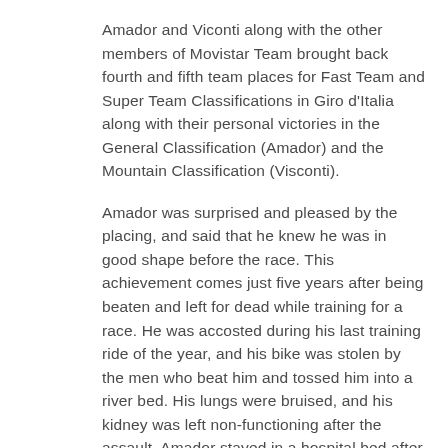Amador and Viconti along with the other members of Movistar Team brought back fourth and fifth team places for Fast Team and Super Team Classifications in Giro d'Italia along with their personal victories in the General Classification (Amador) and the Mountain Classification (Visconti).
Amador was surprised and pleased by the placing, and said that he knew he was in good shape before the race. This achievement comes just five years after being beaten and left for dead while training for a race. He was accosted during his last training ride of the year, and his bike was stolen by the men who beat him and tossed him into a river bed. His lungs were bruised, and his kidney was left non-functioning after the assault. Amador stayed in a hospital bed after the attack.
After his recovery, Andrey Amador won the fourteenth stage at the Giro d'Italia, and